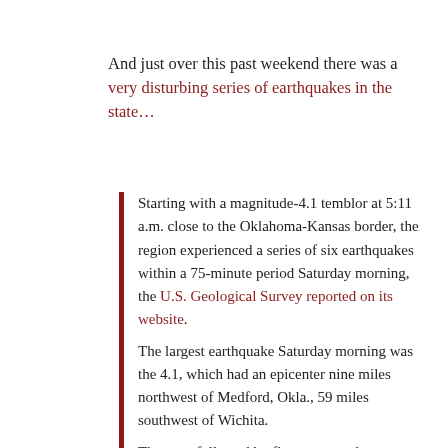And just over this past weekend there was a very disturbing series of earthquakes in the state…
Starting with a magnitude-4.1 temblor at 5:11 a.m. close to the Oklahoma-Kansas border, the region experienced a series of six earthquakes within a 75-minute period Saturday morning, the U.S. Geological Survey reported on its website.
The largest earthquake Saturday morning was the 4.1, which had an epicenter nine miles northwest of Medford, Okla., 59 miles southwest of Wichita.
That was followed by five more quakes near Medford with magnitudes of 2.5, 2.8, 2.5, 3.1 and